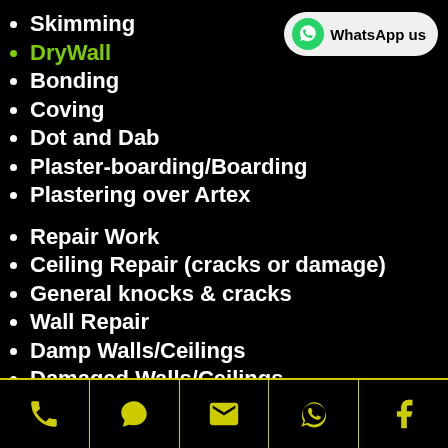Skimming
DryWall
Bonding
Coving
Dot and Dab
Plaster-boarding/Boarding
Plastering over Artex
Repair Work
Ceiling Repair (cracks or damage)
General knocks & cracks
Wall Repair
Damp Walls/Ceilings
Damaged Walls/Ceilings
Stressed Walls/Ceilings
Bumps, scratches & holes
[Figure (logo): WhatsApp us button with green WhatsApp logo icon and text 'WhatsApp us' on light grey rounded rectangle]
Phone | Chat | Email | WhatsApp | Facebook icons